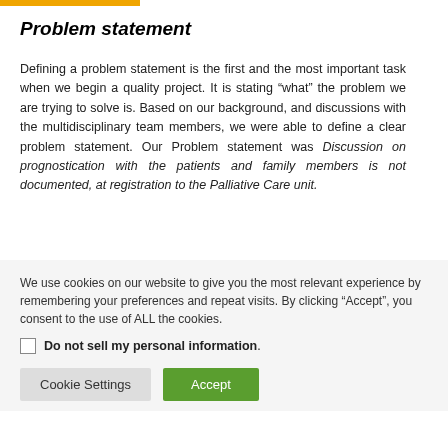Problem statement
Defining a problem statement is the first and the most important task when we begin a quality project. It is stating “what” the problem we are trying to solve is. Based on our background, and discussions with the multidisciplinary team members, we were able to define a clear problem statement. Our Problem statement was Discussion on prognostication with the patients and family members is not documented, at registration to the Palliative Care unit.
We use cookies on our website to give you the most relevant experience by remembering your preferences and repeat visits. By clicking “Accept”, you consent to the use of ALL the cookies.
Do not sell my personal information.
Cookie Settings | Accept